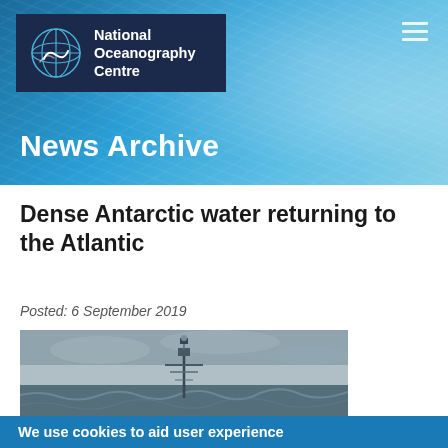National Oceanography Centre
News Archive
Dense Antarctic water returning to the Atlantic
Posted: 6 September 2019
[Figure (photo): A ship mast and equipment visible above rough, grey ocean waves under an overcast sky]
We use cookies to aid user experience